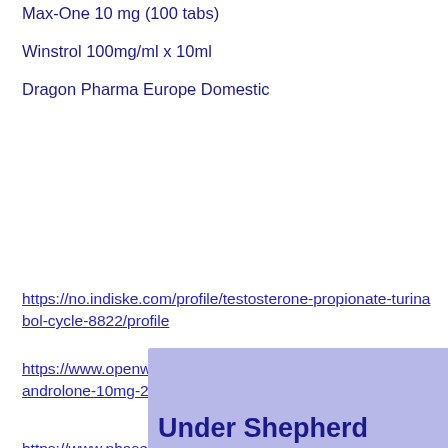Max-One 10 mg (100 tabs)
Winstrol 100mg/ml x 10ml
Dragon Pharma Europe Domestic
https://no.indiske.com/profile/testosterone-propionate-turinabol-cycle-8822/profile
https://www.openwidezine.com/profile/nose-clean-anavar-oxandrolone-10mg-2585/profile
https://www.phaseselling.com/profile/tren-trimix-buy-dianabol-online-europe-6331/profile
https://www.alexcphotographies.com/profile/uk-sarms-flashback-synthetic-testostero-5222/profile
Under Shepherd